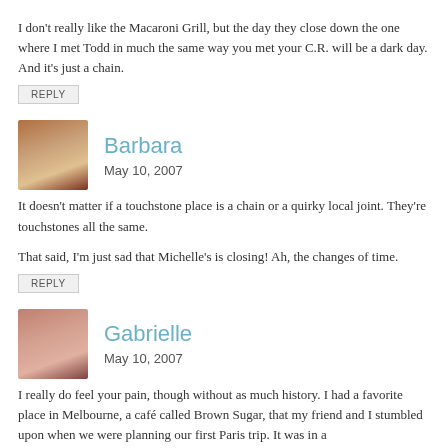I don’t really like the Macaroni Grill, but the day they close down the one where I met Todd in much the same way you met your C.R. will be a dark day. And it’s just a chain.
REPLY
Barbara
May 10, 2007
It doesn’t matter if a touchstone place is a chain or a quirky local joint. They’re touchstones all the same.
That said, I’m just sad that Michelle’s is closing! Ah, the changes of time.
REPLY
Gabrielle
May 10, 2007
I really do feel your pain, though without as much history. I had a favorite place in Melbourne, a café called Brown Sugar, that my friend and I stumbled upon when we were planning our first Paris trip. It was in a